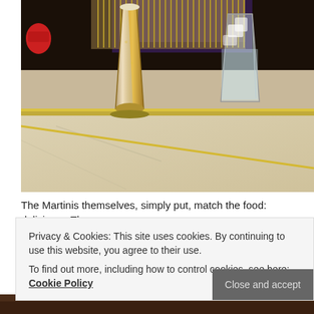[Figure (photo): Photo of drinks on a bar counter — a tall beer glass with golden lager and a glass of water with ice, on a marble/light countertop with metal bar equipment in the background with purple lighting]
The Martinis themselves, simply put, match the food: delicious.  They are
Privacy & Cookies: This site uses cookies. By continuing to use this website, you agree to their use.
To find out more, including how to control cookies, see here: Cookie Policy
[Figure (photo): Partial photo visible at bottom of page, dark brownish tones]